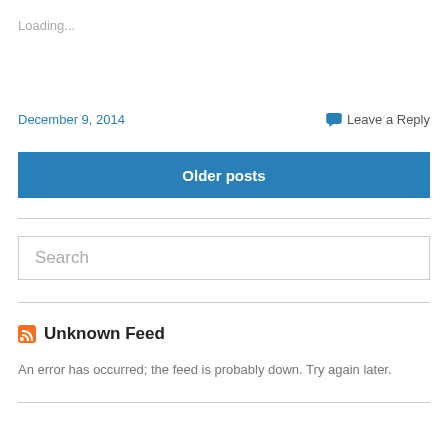Loading...
December 9, 2014
Leave a Reply
Older posts
Search
Unknown Feed
An error has occurred; the feed is probably down. Try again later.